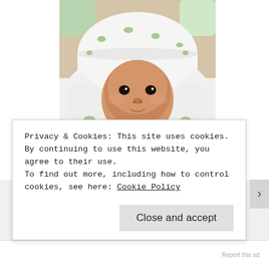[Figure (photo): A newborn baby wrapped in a white blanket and wearing a white hat, both decorated with small green frog/bird patterns. The baby is looking at the camera with dark eyes.]
Privacy & Cookies: This site uses cookies. By continuing to use this website, you agree to their use.
To find out more, including how to control cookies, see here: Cookie Policy
Close and accept